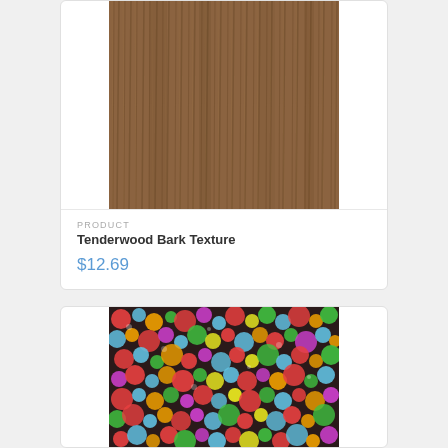[Figure (photo): Wood bark texture image — brown streaked wood grain pattern]
PRODUCT
Tenderwood Bark Texture
$12.69
[Figure (photo): Colorful circles/bubbles texture — multicolored circles pattern on dark background]